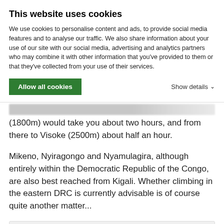This website uses cookies
We use cookies to personalise content and ads, to provide social media features and to analyse our traffic. We also share information about your use of our site with our social media, advertising and analytics partners who may combine it with other information that you've provided to them or that they've collected from your use of their services.
Allow all cookies | Show details
(1800m) would take you about two hours, and from there to Visoke (2500m) about half an hour.
Mikeno, Nyiragongo and Nyamulagira, although entirely within the Democratic Republic of the Congo, are also best reached from Kigali. Whether climbing in the eastern DRC is currently advisable is of course quite another matter...
History
1894 : Nyiragongo (3470m / 11,385ft), G.A. Graf